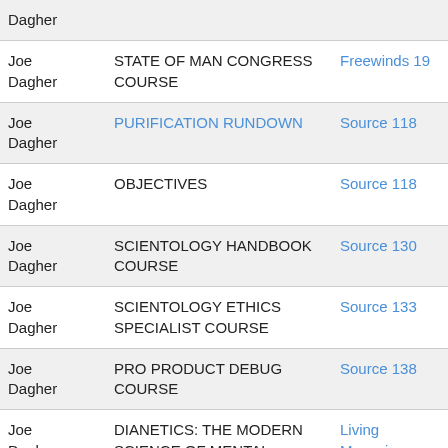| Name | Course | Source | Date |
| --- | --- | --- | --- |
| Dagher |  |  | 04-01 |
| Joe Dagher | STATE OF MAN CONGRESS COURSE | Freewinds 19 | 1996-04-01 |
| Joe Dagher | PURIFICATION RUNDOWN | Source 118 | 1998-08-01 |
| Joe Dagher | OBJECTIVES | Source 118 | 1998-08-01 |
| Joe Dagher | SCIENTOLOGY HANDBOOK COURSE | Source 130 | 2000-07-01 |
| Joe Dagher | SCIENTOLOGY ETHICS SPECIALIST COURSE | Source 133 | 2001-03-01 |
| Joe Dagher | PRO PRODUCT DEBUG COURSE | Source 138 | 2002-06-01 |
| Joe Dagher | DIANETICS: THE MODERN SCIENCE OF MENTAL HEALTH | Living Magazine (Tampa) 406 | 2008-06-01 |
| Joe F. | SOLO AUDITOR COURSE | Source 206 | 2009- |